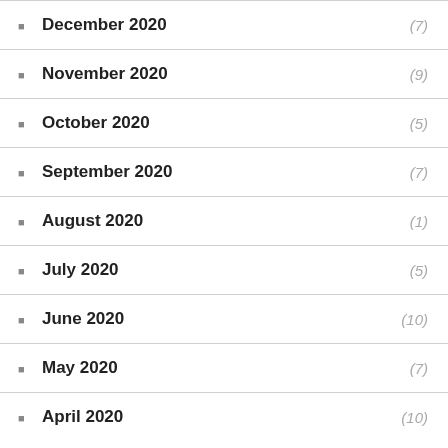December 2020 (7)
November 2020 (9)
October 2020 (5)
September 2020 (7)
August 2020 (1)
July 2020 (5)
June 2020 (10)
May 2020 (7)
April 2020 (10)